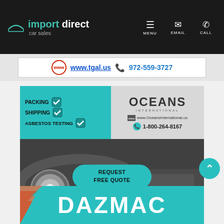[Figure (screenshot): Navigation bar with Import Direct Car Sales logo on left and MENU, EMAIL, CALL icons on right, dark background]
[Figure (screenshot): TGAL banner advertisement with www.tgal.us and phone number 972-559-3727]
[Figure (screenshot): Oceans International advertisement: packing, shipping, asbestos testing services with car photo background, Request Free Quote button, phone 1-800-264-8167, footer: The ONLY Certified Off-Shore Cleaning Facility]
[Figure (screenshot): Partial DAZMAC advertisement in teal/cyan color at bottom of page]